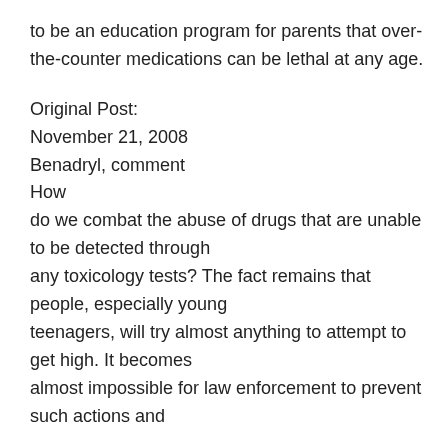to be an education program for parents that over-the-counter medications can be lethal at any age.
Original Post:
November 21, 2008
Benadryl, comment
How do we combat the abuse of drugs that are unable to be detected through any toxicology tests? The fact remains that people, especially young teenagers, will try almost anything to attempt to get high. It becomes almost impossible for law enforcement to prevent such actions and